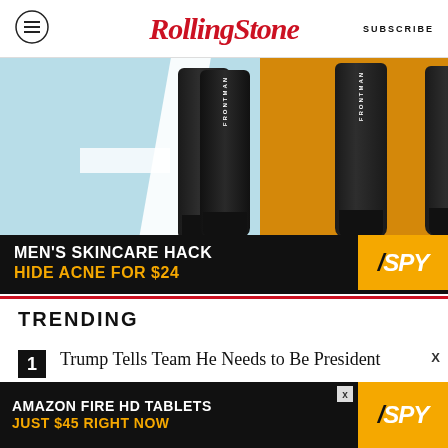Rolling Stone | SUBSCRIBE
[Figure (photo): Advertisement showing three FRONTMAN skincare tubes against a light blue and orange background, with black banner reading MEN'S SKINCARE HACK / HIDE ACNE FOR $24 and SPY logo]
TRENDING
1. Trump Tells Team He Needs to Be President
[Figure (photo): Bottom advertisement banner: AMAZON FIRE HD TABLETS / JUST $45 RIGHT NOW with SPY logo on yellow background]